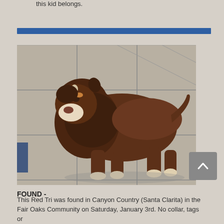this kid belongs.
[Figure (photo): A brown/red tri-colored Australian Shepherd dog standing on tile flooring, viewed from the side with head turned toward camera. The dog has long fur around its neck and face, white markings on face and paws, and no collar.]
FOUND -
This Red Tri was found in Canyon Country (Santa Clarita) in the Fair Oaks Community on Saturday, January 3rd. No collar, tags or